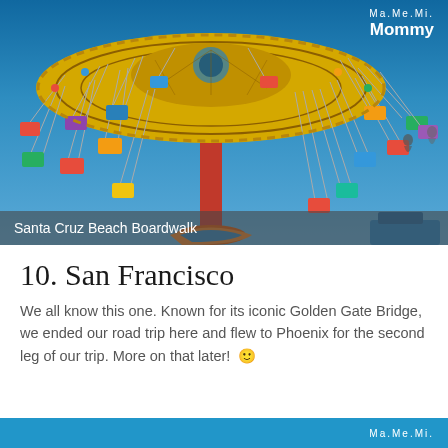[Figure (photo): Colorful swing carousel ride at Santa Cruz Beach Boardwalk against a bright blue sky, with riders in colorful chairs suspended by chains. A logo 'Ma.Me.Mi. Mommy' appears in the top right corner.]
Santa Cruz Beach Boardwalk
10. San Francisco
We all know this one. Known for its iconic Golden Gate Bridge, we ended our road trip here and flew to Phoenix for the second leg of our trip. More on that later!  🙂
Ma.Me.Mi.